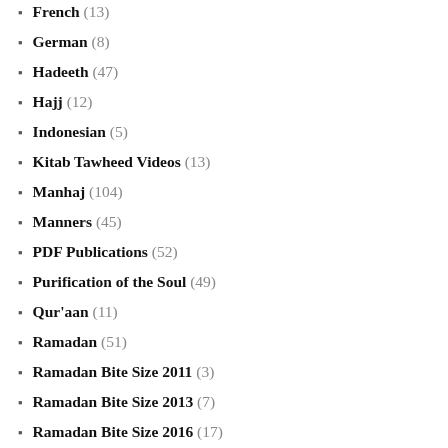French (13)
German (8)
Hadeeth (47)
Hajj (12)
Indonesian (5)
Kitab Tawheed Videos (13)
Manhaj (104)
Manners (45)
PDF Publications (52)
Purification of the Soul (49)
Qur'aan (11)
Ramadan (51)
Ramadan Bite Size 2011 (3)
Ramadan Bite Size 2013 (7)
Ramadan Bite Size 2016 (17)
Ramadan Bite Size 2017 (29)
Ramadan Bite Size 2019 (21)